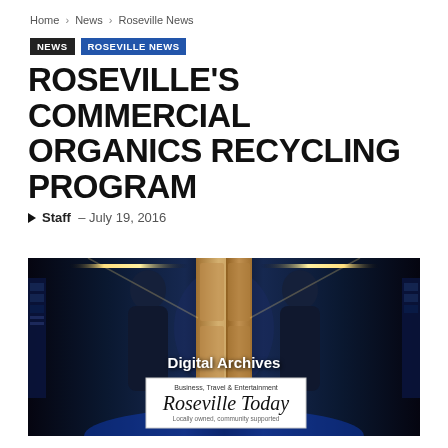Home › News › Roseville News
NEWS   ROSEVILLE NEWS
ROSEVILLE'S COMMERCIAL ORGANICS RECYCLING PROGRAM
▶ Staff – July 19, 2016
[Figure (photo): Dark corridor with blue lighting and server/data center aesthetics, mirrored composition with person silhouettes on each side, center wooden door, ceiling light strips. Overlaid text: 'Digital Archives' and Roseville Today logo box with 'Business, Travel & Entertainment', 'Roseville Today', 'Locally owned, community supported'.]